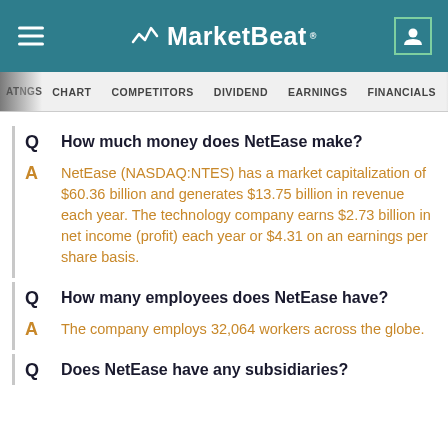MarketBeat
Q  How much money does NetEase make?
A  NetEase (NASDAQ:NTES) has a market capitalization of $60.36 billion and generates $13.75 billion in revenue each year. The technology company earns $2.73 billion in net income (profit) each year or $4.31 on an earnings per share basis.
Q  How many employees does NetEase have?
A  The company employs 32,064 workers across the globe.
Q  Does NetEase have any subsidiaries?